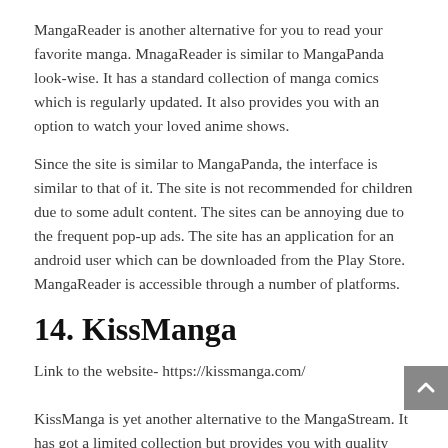MangaReader is another alternative for you to read your favorite manga. MnagaReader is similar to MangaPanda look-wise. It has a standard collection of manga comics which is regularly updated. It also provides you with an option to watch your loved anime shows.
Since the site is similar to MangaPanda, the interface is similar to that of it. The site is not recommended for children due to some adult content. The sites can be annoying due to the frequent pop-up ads. The site has an application for an android user which can be downloaded from the Play Store. MangaReader is accessible through a number of platforms.
14. KissManga
Link to the website- https://kissmanga.com/
KissManga is yet another alternative to the MangaStream. It has got a limited collection but provides you with quality